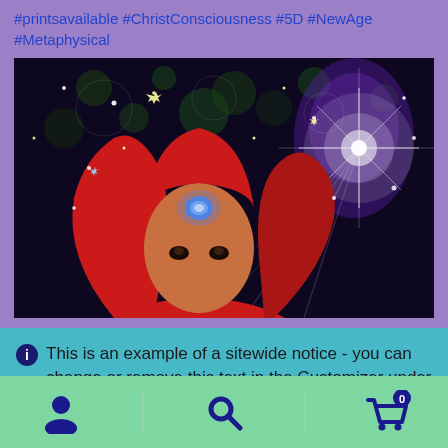#printsavailable #ChristConsciousness #5D #NewAge #Metaphysical
[Figure (illustration): Mystical digital art of a woman wearing red head covering with a glowing third-eye jewel, surrounded by sparkles, bokeh lights, and a bright starburst of light on a dark background]
This is an example of a sitewide notice - you can change or remove this text in the Customizer under "Store Notice"
Dismiss
Account | Search | Cart (0)